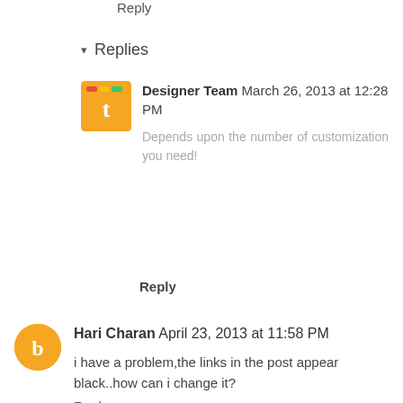Reply
▾ Replies
Designer Team March 26, 2013 at 12:28 PM
Depends upon the number of customization you need!
Reply
Hari Charan April 23, 2013 at 11:58 PM
i have a problem,the links in the post appear black..how can i change it?
Reply